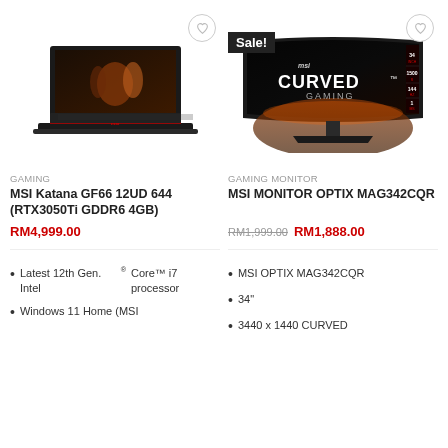[Figure (photo): MSI Katana GF66 gaming laptop with red keyboard backlight]
[Figure (photo): MSI OPTIX MAG342CQR curved gaming monitor with Sale! badge]
GAMING
GAMING MONITOR
MSI Katana GF66 12UD 644 (RTX3050Ti GDDR6 4GB)
MSI MONITOR OPTIX MAG342CQR
RM4,999.00
RM1,999.00  RM1,888.00
Latest 12th Gen. Intel® Core™ i7 processor
Windows 11 Home (MSI
MSI OPTIX MAG342CQR
34"
3440 x 1440 CURVED